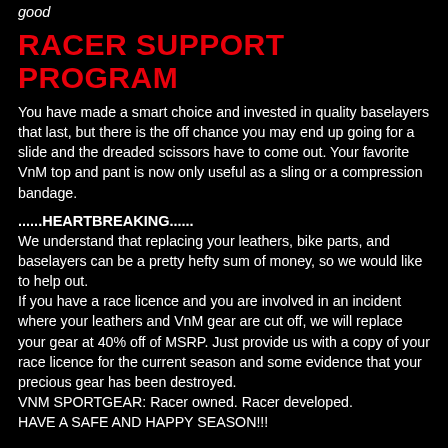good
RACER SUPPORT PROGRAM
You have made a smart choice and invested in quality baselayers that last, but there is the off chance you may end up going for a slide and the dreaded scissors have to come out. Your favorite VnM top and pant is now only useful as a sling or a compression bandage.
......HEARTBREAKING......
We understand that replacing your leathers, bike parts, and baselayers can be a pretty hefty sum of money, so we would like to help out.
If you have a race licence and you are involved in an incident where your leathers and VnM gear are cut off, we will replace your gear at 40% off of MSRP. Just provide us with a copy of your race licence for the current season and some evidence that your precious gear has been destroyed.
VNM SPORTGEAR: Racer owned. Racer developed.
HAVE A SAFE AND HAPPY SEASON!!!
TRY AND BUY PROGRAM
If you aren't sure you are ready to invest into VNM gear, we